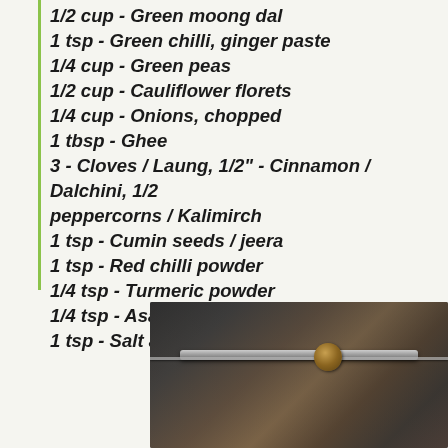1/2 cup - Green moong dal
1 tsp - Green chilli, ginger paste
1/4 cup - Green peas
1/2 cup - Cauliflower florets
1/4 cup - Onions, chopped
1 tbsp - Ghee
3 - Cloves / Laung, 1/2" - Cinnamon / Dalchini, 1/2 peppercorns / Kalimirch
1 tsp - Cumin seeds / jeera
1 tsp - Red chilli powder
1/4 tsp - Turmeric powder
1/4 tsp - Asafoetida / hing
1 tsp - Salt as reqd
[Figure (photo): A photo of a wooden spice box or container with metal hinges and clasps, appearing vintage/rustic, viewed at an angle from above.]